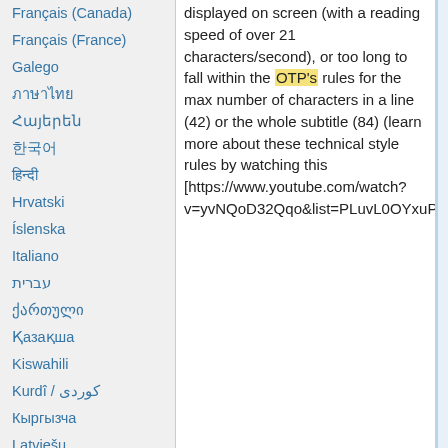Français (Canada)
Français (France)
Galego
ქართული
Հայերեն
한국어
हिन्दी
Hrvatski
Íslenska
Italiano
עברית
ქართული
Қазақша
Kiswahili
Kurdî / کوردی
Кыргызча
Latviešu
Lietuvių
Magyar
Македонски
Malagasy
मराठी
မြန်မာဘာသာ
displayed on screen (with a reading speed of over 21 characters/second), or too long to fall within the OTP's rules for the max number of characters in a line (42) or the whole subtitle (84) (learn more about these technical style rules by watching this [https://www.youtube.com/watch?v=yvNQoD32Qqo&list=PLuvL0OYxuPwxQbdq4W7TCQ7TBnW39c